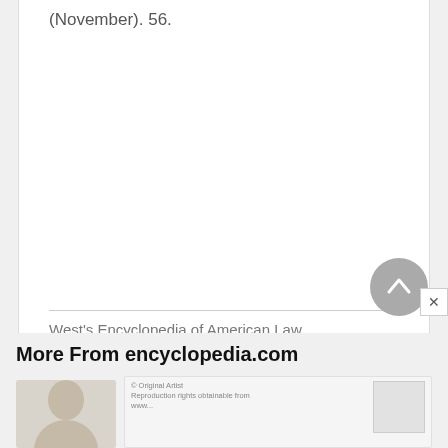(November). 56.
West's Encyclopedia of American Law
More From encyclopedia.com
[Figure (photo): Thumbnail image of a person (partially visible, cropped at bottom of page)]
[Figure (screenshot): Small thumbnail with text reading '© Original Artist Reproduction rights obtainable from www...' and a small image]